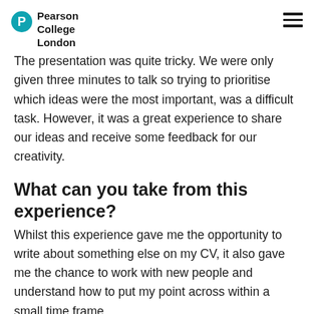Pearson College London
The presentation was quite tricky. We were only given three minutes to talk so trying to prioritise which ideas were the most important, was a difficult task. However, it was a great experience to share our ideas and receive some feedback for our creativity.
What can you take from this experience?
Whilst this experience gave me the opportunity to write about something else on my CV, it also gave me the chance to work with new people and understand how to put my point across within a small time frame.